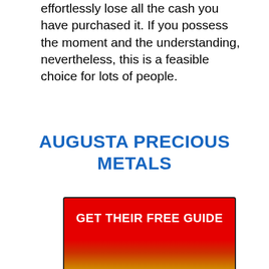effortlessly lose all the cash you have purchased it. If you possess the moment and the understanding, nevertheless, this is a feasible choice for lots of people.
AUGUSTA PRECIOUS METALS
[Figure (other): Red and gold gradient call-to-action button with text GET THEIR FREE GUIDE in white bold letters]
Augusta Priceless Metals is an online investment firm that offers gold, silver as well as platinum investments. Not for retirement life saving idea's that are interested in producing profitable metal